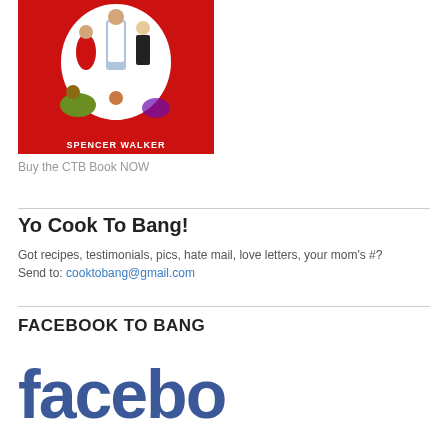[Figure (illustration): Book cover with red background showing illustrated characters (Spencer Walker book) titled with figures of people posing]
Buy the CTB Book NOW
Yo Cook To Bang!
Got recipes, testimonials, pics, hate mail, love letters, your mom's #?
Send to: cooktobang@gmail.com
FACEBOOK TO BANG
[Figure (logo): Facebook logo in blue with lowercase letters reading 'facebook']